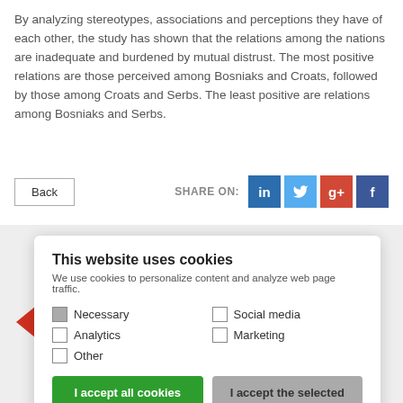By analyzing stereotypes, associations and perceptions they have of each other, the study has shown that the relations among the nations are inadequate and burdened by mutual distrust. The most positive relations are those perceived among Bosniaks and Croats, followed by those among Croats and Serbs. The least positive are relations among Bosniaks and Serbs.
Back
SHARE ON:
[Figure (other): Cookie consent modal dialog with checkboxes for Necessary, Analytics, Other, Social media, Marketing; buttons: I accept all cookies, I accept the selected; link: Cookie settings; button: I do not accept]